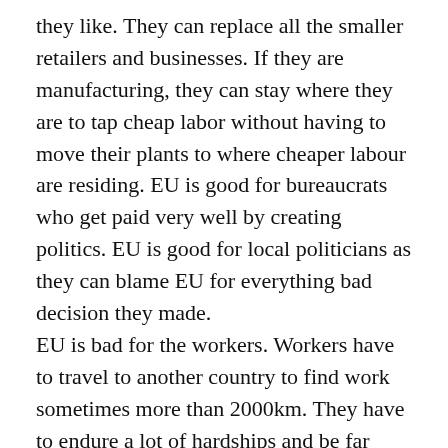they like. They can replace all the smaller retailers and businesses. If they are manufacturing, they can stay where they are to tap cheap labor without having to move their plants to where cheaper labour are residing. EU is good for bureaucrats who get paid very well by creating politics. EU is good for local politicians as they can blame EU for everything bad decision they made. EU is bad for the workers. Workers have to travel to another country to find work sometimes more than 2000km. They have to endure a lot of hardships and be far away from their families. As these workers moved elsewhere, services such as medical and education from these less rich countries are